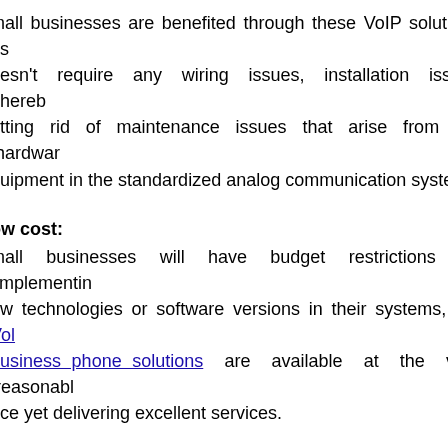Small businesses are benefited through these VoIP solutions as it doesn't require any wiring issues, installation issues thereby getting rid of maintenance issues that arise from the hardware equipment in the standardized analog communication system.
Low cost:
Small businesses will have budget restrictions for implementing new technologies or software versions in their systems, but VoIP business phone solutions are available at the very reasonable price yet delivering excellent services.
Connect anywhere:
VoIP business phone services are highly scalable and flexible and connects remote working employees working for your organization from any place on a single platform.
Features: